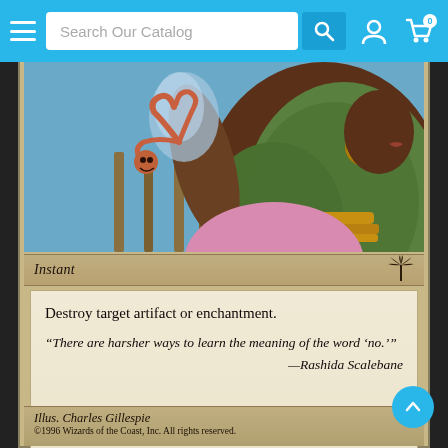[Figure (screenshot): Website navigation bar with hamburger menu, search field reading 'Search Our Catalog', search button, account icon, and cart icon with badge showing 0]
[Figure (illustration): Magic: The Gathering card art showing a dark-skinned woman in a pink garment and green scaled cloak/cape, gold jewelry (earrings, necklace, bracelets), holding up what appears to be a creature or artifact with tentacles/serpents in her raised hand, smoky effect above her hand. Background shows wooden stakes and blue sky.]
Instant
Destroy target artifact or enchantment.
“There are harsher ways to learn the meaning of the word ‘no.’” —Rashida Scalebane
Illus. Charles Gillespie
©1996 Wizards of the Coast, Inc. All rights reserved.